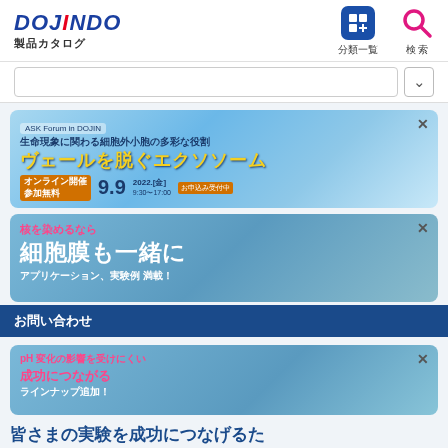[Figure (logo): Dojindo logo with red dot on the 'i', blue italic text DOJINDO, subtitle 製品カタログ]
[Figure (infographic): Navigation icons: 分類一覧 (category list) with blue grid icon, 検索 (search) with pink magnifier icon]
[Figure (infographic): Banner 1: ASK Forum in DOJIN - 生命現象に関わる細胞外小胞の多彩な役割 ヴェールを脱ぐエクソソーム, オンライン開催 参加無料 9.9 2022.[金] 9:30〜17:00 お申込み受付中]
[Figure (infographic): Banner 2: 核を染めるなら 細胞膜も一緒に アプリケーション、実験例 満載！]
お問い合わせ
[Figure (infographic): Banner 3: pH 変化の影響を受けにくい ラインナップ追加！]
皆さまの実験を成功につなげるために ラインナップ追加！
[Figure (infographic): Banner 4: Information icon (i) on light blue background]
お問い合わせフォーム